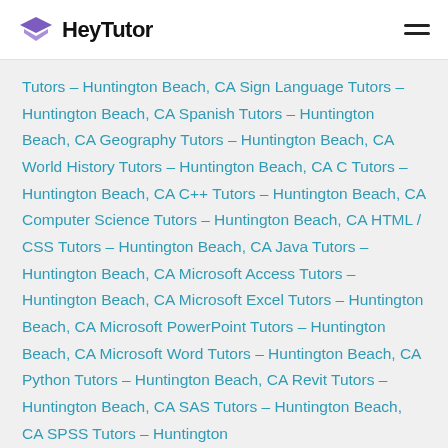HeyTutor
Tutors – Huntington Beach, CA Sign Language Tutors – Huntington Beach, CA Spanish Tutors – Huntington Beach, CA Geography Tutors – Huntington Beach, CA World History Tutors – Huntington Beach, CA C Tutors – Huntington Beach, CA C++ Tutors – Huntington Beach, CA Computer Science Tutors – Huntington Beach, CA HTML / CSS Tutors – Huntington Beach, CA Java Tutors – Huntington Beach, CA Microsoft Access Tutors – Huntington Beach, CA Microsoft Excel Tutors – Huntington Beach, CA Microsoft PowerPoint Tutors – Huntington Beach, CA Microsoft Word Tutors – Huntington Beach, CA Python Tutors – Huntington Beach, CA Revit Tutors – Huntington Beach, CA SAS Tutors – Huntington Beach, CA SPSS Tutors – Huntington